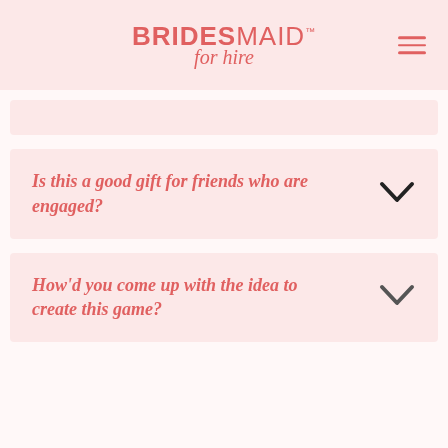BRIDESMAID for hire
Is this a good gift for friends who are engaged?
How'd you come up with the idea to create this game?